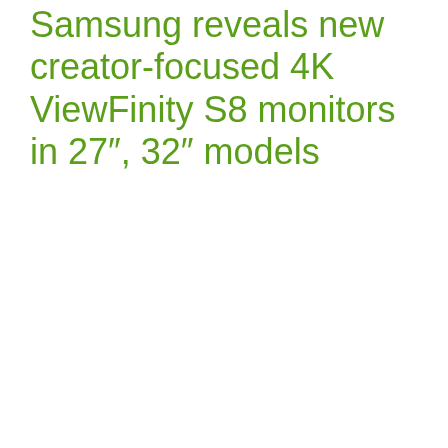Samsung reveals new creator-focused 4K ViewFinity S8 monitors in 27″, 32″ models